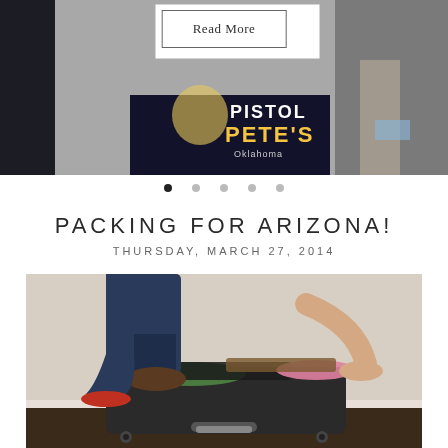[Figure (photo): Top banner image showing a partial scene with Pistol Pete's Oklahoma signage visible, dark background. A 'Read More' button is overlaid on a white box in the upper center area.]
[Figure (other): Navigation dots: five dots in a row, the first (leftmost) is dark/active, the remaining four are light gray/inactive.]
PACKING FOR ARIZONA!
THURSDAY, MARCH 27, 2014
[Figure (photo): Stock photo of a person wearing jeans and a boot pressing their knee down on an overstuffed open suitcase, trying to close it. The suitcase is full of folded clothes including green and pink items. The scene is on a dark wood floor against a white baseboard.]